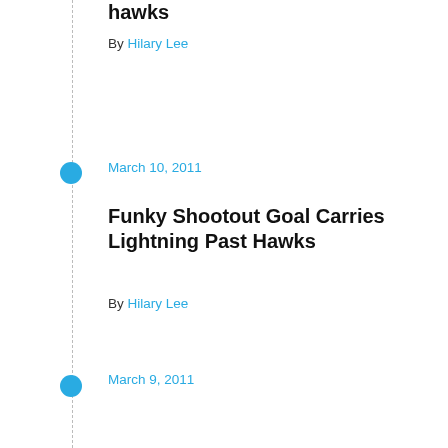hawks
By Hilary Lee
March 10, 2011
Funky Shootout Goal Carries Lightning Past Hawks
By Hilary Lee
March 9, 2011
Blackhawks Try To Get Back On Track Against A Different Florida Team
By Hilary Lee
It seems the Blackhawks can't leave Florida soon enough, as they dropped their second game in a row to a team from that state, falling to Tampa Bay in a shootout.